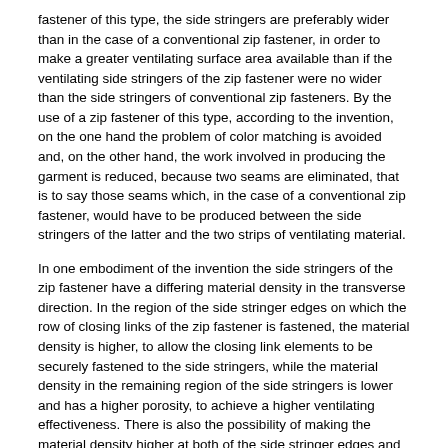fastener of this type, the side stringers are preferably wider than in the case of a conventional zip fastener, in order to make a greater ventilating surface area available than if the ventilating side stringers of the zip fastener were no wider than the side stringers of conventional zip fasteners. By the use of a zip fastener of this type, according to the invention, on the one hand the problem of color matching is avoided and, on the other hand, the work involved in producing the garment is reduced, because two seams are eliminated, that is to say those seams which, in the case of a conventional zip fastener, would have to be produced between the side stringers of the latter and the two strips of ventilating material.
In one embodiment of the invention the side stringers of the zip fastener have a differing material density in the transverse direction. In the region of the side stringer edges on which the row of closing links of the zip fastener is fastened, the material density is higher, to allow the closing link elements to be securely fastened to the side stringers, while the material density in the remaining region of the side stringers is lower and has a higher porosity, to achieve a higher ventilating effectiveness. There is also the possibility of making the material density higher at both of the side stringer edges and of providing only the middle region located between them with a lower material density, to allow the side stringers to be sewn more securely to the outer material of the garment.
Making the side stringers of the zip fastener the subject of ventilating...